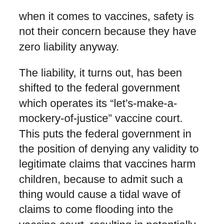when it comes to vaccines, safety is not their concern because they have zero liability anyway.
The liability, it turns out, has been shifted to the federal government which operates its “let’s-make-a-mockery-of-justice” vaccine court. This puts the federal government in the position of denying any validity to legitimate claims that vaccines harm children, because to admit such a thing would cause a tidal wave of claims to come flooding into the vaccine court, resulting in potentially trillions of dollars in payouts to all the parents whose children have been harmed by vaccines.
What we have here, folks, is a genuine circle-the-wagons, cover-your-eyes, deny-the-truth cover-up involving Big Government and Big Pharma operating “in cahoots.” The government gives the vaccine industry blanket immunity,